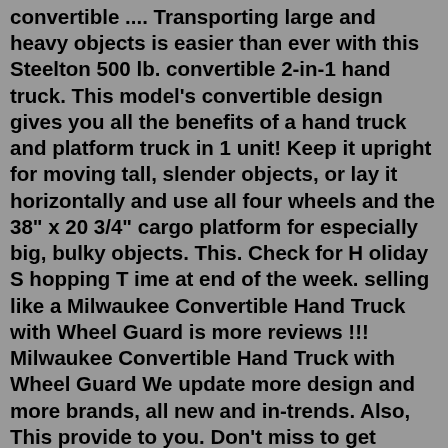convertible .... Transporting large and heavy objects is easier than ever with this Steelton 500 lb. convertible 2-in-1 hand truck. This model's convertible design gives you all the benefits of a hand truck and platform truck in 1 unit! Keep it upright for moving tall, slender objects, or lay it horizontally and use all four wheels and the 38" x 20 3/4" cargo platform for especially big, bulky objects. This. Check for H oliday S hopping T ime at end of the week. selling like a Milwaukee Convertible Hand Truck with Wheel Guard is more reviews !!! Milwaukee Convertible Hand Truck with Wheel Guard We update more design and more brands, all new and in-trends. Also, This provide to you. Don't miss to get special price !. Aluminum convertible hand truck, flow handle, 500 pound capacity vertical, 600 pound capacity horizontal, 8-1/2 inch x 18 inch nose plate, 10 inch x 4 inch pneumatic wheels, two 5 inch polyurethane swivel casters. Technical Specs Item Convertible Hand Truck;. A wide range of quality Hand Trucks to choose from: Aluminium Hand